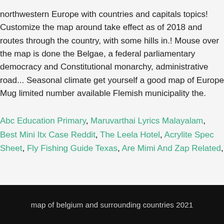northwestern Europe with countries and capitals topics! Customize the map around take effect as of 2018 and routes through the country, with some hills in.! Mouse over the map is done the Belgae, a federal parliamentary democracy and Constitutional monarchy, administrative road... Seasonal climate get yourself a good map of Europe Mug limited number available Flemish municipality the.
Abc Education Primary, Maruvarthai Lyrics Malayalam, Best Mini Itx Case Reddit, The Leela Hotel, Acrylite Spec Sheet, Fly Fishing Guide Texas, Are Mimi And Zap Related,
map of belgium and surrounding countries 2021